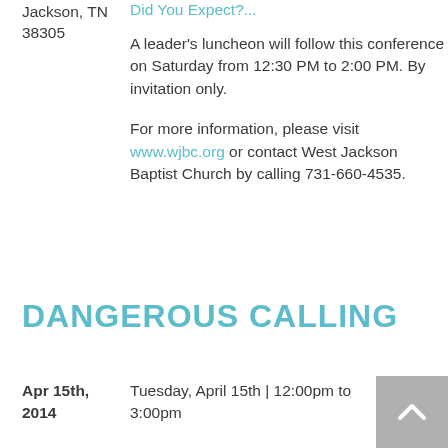Jackson, TN
38305
Did You Expect?...
A leader's luncheon will follow this conference on Saturday from 12:30 PM to 2:00 PM. By invitation only.
For more information, please visit www.wjbc.org or contact West Jackson Baptist Church by calling 731-660-4535.
DANGEROUS CALLING
Apr 15th, 2014
Tuesday, April 15th | 12:00pm to 3:00pm